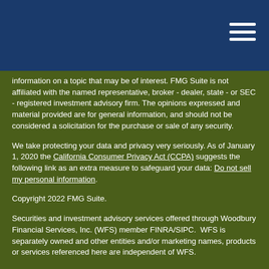information on a topic that may be of interest. FMG Suite is not affiliated with the named representative, broker - dealer, state - or SEC - registered investment advisory firm. The opinions expressed and material provided are for general information, and should not be considered a solicitation for the purchase or sale of any security.
We take protecting your data and privacy very seriously. As of January 1, 2020 the California Consumer Privacy Act (CCPA) suggests the following link as an extra measure to safeguard your data: Do not sell my personal information.
Copyright 2022 FMG Suite.
Securities and investment advisory services offered through Woodbury Financial Services, Inc. (WFS) member FINRA/SIPC. WFS is separately owned and other entities and/or marketing names, products or services referenced here are independent of WFS.
Neither WFS nor its registered representatives or employees, provide tax or legal advice. As with all matters of a tax or legal nature, you should consult with your tax or legal counsel for advice.